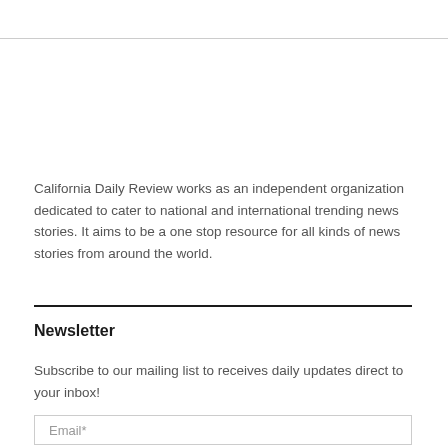California Daily Review works as an independent organization dedicated to cater to national and international trending news stories. It aims to be a one stop resource for all kinds of news stories from around the world.
Newsletter
Subscribe to our mailing list to receives daily updates direct to your inbox!